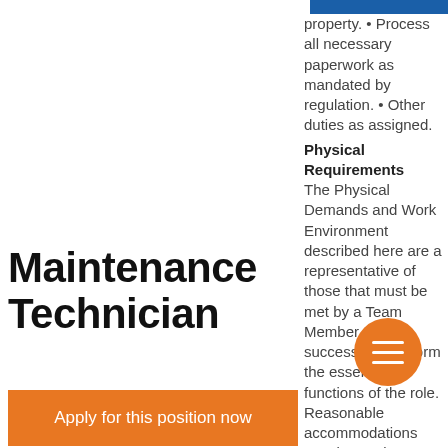Maintenance Technician
Apply for this position now
property. • Process all necessary paperwork as mandated by regulation. • Other duties as assigned. Physical Requirements The Physical Demands and Work Environment described here are a representative of those that must be met by a Team Member to successfully perform the essential functions of the role. Reasonable accommodations may be made to enable